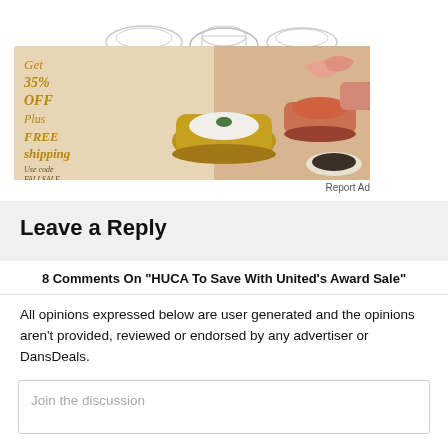[Figure (photo): Partial view of product images (bowls/cookware) cropped at top of page]
[Figure (photo): Advertisement banner: Get 35% OFF Plus FREE shipping, Use code FALLSALE, showing copper and gold Indian cookware pots on a table setting]
Report Ad
Leave a Reply
8 Comments On "HUCA To Save With United's Award Sale"
All opinions expressed below are user generated and the opinions aren't provided, reviewed or endorsed by any advertiser or DansDeals.
Join the discussion